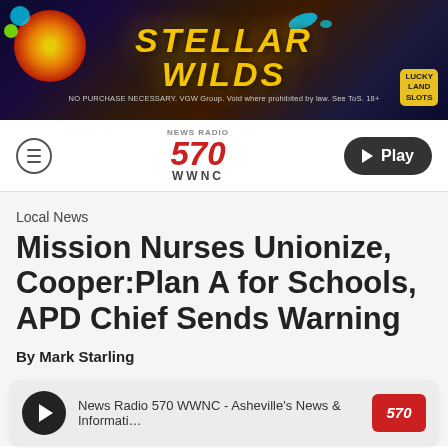[Figure (illustration): Advertisement banner for Stellar Wilds game by LuckyLand Slots. Dark space-themed background with colorful graphics. Text reads STELLAR WILDS in large gold letters. Fine print: NO PURCHASE NECESSARY. VGW Group. Void where prohibited by law. See ToS. 18+]
News Radio 570 WWNC — navigation bar with hamburger menu and Play button
Local News
Mission Nurses Unionize, Cooper:Plan A for Schools, APD Chief Sends Warning
By Mark Starling
News Radio 570 WWNC - Asheville's News & Informati…